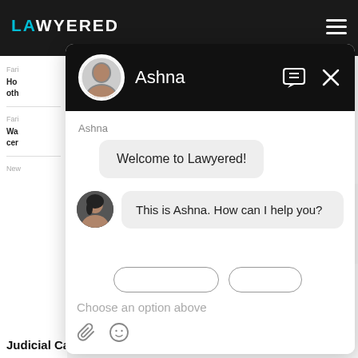LAWYERED
[Figure (screenshot): Chat widget modal for Lawyered legal service showing a conversation with AI assistant 'Ashna'. Header has black background with avatar and name. Chat shows welcome message 'Welcome to Lawyered!' and 'This is Ashna. How can I help you?' with quick reply buttons and input area with 'Choose an option above' placeholder.]
Ashna
Welcome to Lawyered!
This is Ashna. How can I help you?
Choose an option above
Judicial Career Advice